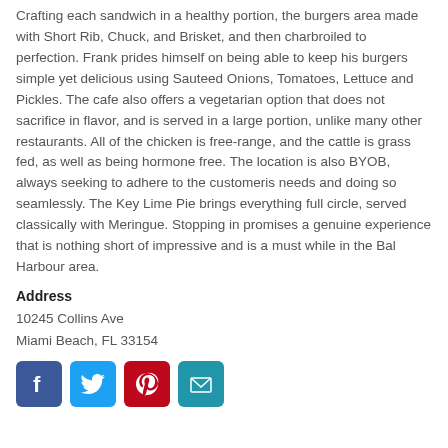Crafting each sandwich in a healthy portion, the burgers area made with Short Rib, Chuck, and Brisket, and then charbroiled to perfection. Frank prides himself on being able to keep his burgers simple yet delicious using Sauteed Onions, Tomatoes, Lettuce and Pickles. The cafe also offers a vegetarian option that does not sacrifice in flavor, and is served in a large portion, unlike many other restaurants. All of the chicken is free-range, and the cattle is grass fed, as well as being hormone free. The location is also BYOB, always seeking to adhere to the customeris needs and doing so seamlessly. The Key Lime Pie brings everything full circle, served classically with Meringue. Stopping in promises a genuine experience that is nothing short of impressive and is a must while in the Bal Harbour area.
Address
10245 Collins Ave
Miami Beach, FL 33154
[Figure (infographic): Social media icons: Facebook (blue), Twitter (light blue), Pinterest (dark red), Email (teal)]